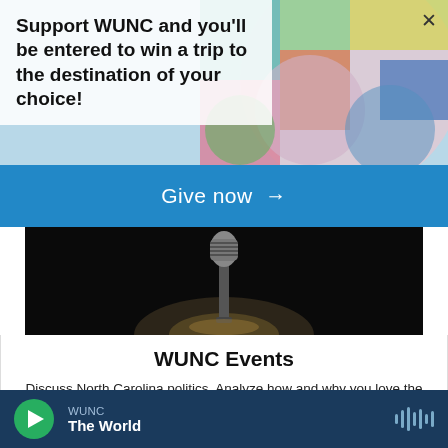Support WUNC and you'll be entered to win a trip to the destination of your choice!
Give now →
[Figure (photo): Microphone on a stand lit from below against a dark black background]
WUNC Events
Discuss North Carolina politics. Analyze how and why you love the way you do. Quiz yourself on Black history. Hear poetry from NC's poet laureate. Meet NPR hosts and reporters. You never know where WUNC's events will take you. Join us for this
WUNC — The World